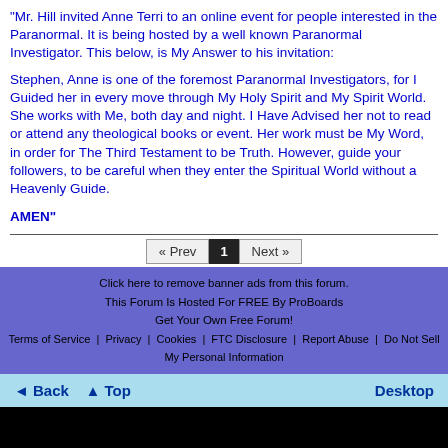"Mr. Hill invited Anne Terri to an online event for people interested in the Paranormal. It is being hosted by a well known Paranormal Investigator. This below, is My Answer to his invitation:
Stephen, Anne is one of the foremost Paranormal Investigators, for I Guided her in every move through My Holy Spirit and My Spirit World. She works with Me, both day and night. I Have Advised her not to read or attend any theological books or event. Her work must be My Word, in order for The Third Testament to be Truth. However, guide your followers, to be careful when they enter the Spiritual World without a Heavenly Guide.
AMEN"
Click here to remove banner ads from this forum.
This Forum Is Hosted For FREE By ProBoards
Get Your Own Free Forum!
Terms of Service | Privacy | Cookies | FTC Disclosure | Report Abuse | Do Not Sell My Personal Information